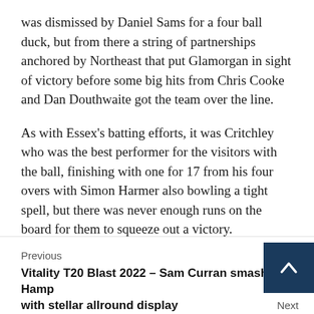was dismissed by Daniel Sams for a four ball duck, but from there a string of partnerships anchored by Northeast that put Glamorgan in sight of victory before some big hits from Chris Cooke and Dan Douthwaite got the team over the line.
As with Essex's batting efforts, it was Critchley who was the best performer for the visitors with the ball, finishing with one for 17 from his four overs with Simon Harmer also bowling a tight spell, but there was never enough runs on the board for them to squeeze out a victory.
Previous
Vitality T20 Blast 2022 – Sam Curran smashes Hamp with stellar allround display
Next